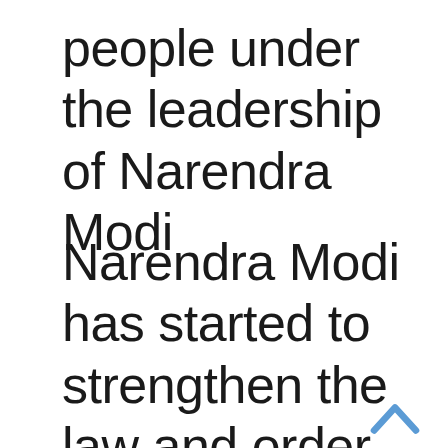people under the leadership of Narendra Modi
Narendra Modi has started to strengthen the law and order situation in the whole country and the Ministry of Home